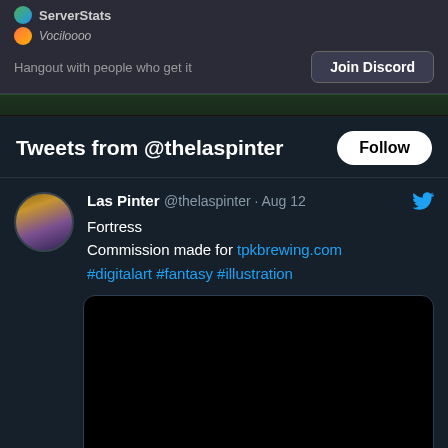ServerStats
Vociloooo
Hangout with people who get it
Join Discord
Tweets from @thelaspinter
Follow
Las Pinter @thelaspinter · Aug 12
Fortress
Commission made for tpkbrewing.com
#digitalart #fantasy #illustration
[Figure (photo): Black image area representing tweet image placeholder]